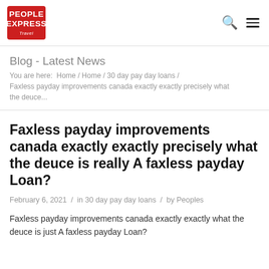PEOPLE EXPRESS Travel
Blog - Latest News
You are here: Home / Home / 30 day pay day loans / Faxless payday improvements canada exactly exactly precisely what the deuce...
Faxless payday improvements canada exactly exactly precisely what the deuce is really A faxless payday Loan?
February 6, 2021 / in 30 day pay day loans / by Peoples
Faxless payday improvements canada exactly exactly what the deuce is just A faxless payday Loan?